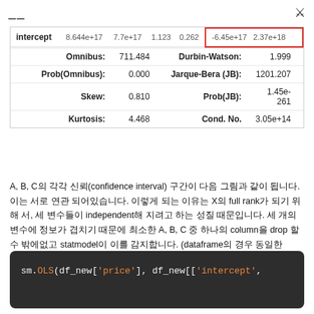≡  🔍
|  | coef | std err | t | P>|t| | [0.025 | 0.975] |
| --- | --- | --- | --- | --- | --- | --- |
| intercept | 8.644e+17 | 7.7e+17 | 1.123 | 0.262 | -6.45e+17 | 2.37e+18 |
| Omnibus: | 711.484 | Durbin-Watson: | 1.999 |
| Prob(Omnibus): | 0.000 | Jarque-Bera (JB): | 1201.207 |
| Skew: | 0.810 | Prob(JB): | 1.45e-261 |
| Kurtosis: | 4.468 | Cond. No. | 3.05e+14 |
A, B, C의 각각 신뢰(confidence interval) 구간이 다음 그림과 같이 됩니다. 이는 서로 연관 되어있습니다. 이렇게 되는 이유는 X의 full rank가 되기 위해 서, 세 변수들이 independent해 지려고 하는 성질 때문입니다. 세 개의 변수에 정보가 겹치기 때문에 최소한 A, B, C 중 하나의 column을 drop 할 수 밖에없고 statmodel이 이를 감지합니다. (dataframe의 경우 동일한 column을 drop 하게 되면 어떤 column을 drop 할 지는 유저에 따라 다를 수 있습니다.)
[Figure (screenshot): Code block showing sm.OLS(df_new['price'], df_new[['intercept',]